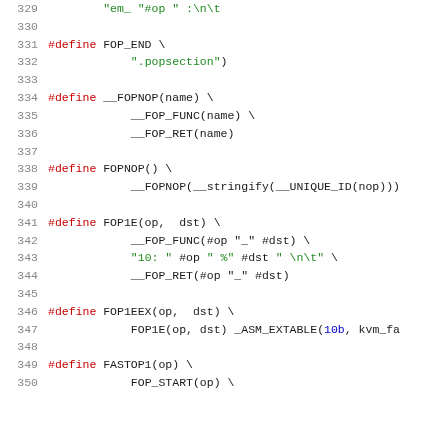[Figure (screenshot): Source code listing showing C preprocessor macro definitions for FOP_END, __FOPNOP, FOPNOP, FOP1E, FOP1EEX, and FASTOP1 macros with line numbers 329-350]
Lines 329-350 of source code with macro definitions